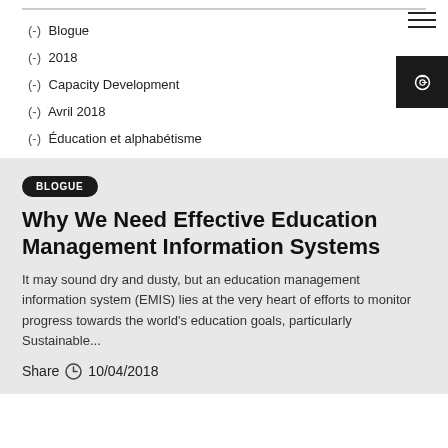(-) Blogue
(-) 2018
(-) Capacity Development
(-) Avril 2018
(-) Éducation et alphabétisme
BLOGUE
Why We Need Effective Education Management Information Systems
It may sound dry and dusty, but an education management information system (EMIS) lies at the very heart of efforts to monitor progress towards the world's education goals, particularly Sustainable...
Share 10/04/2018